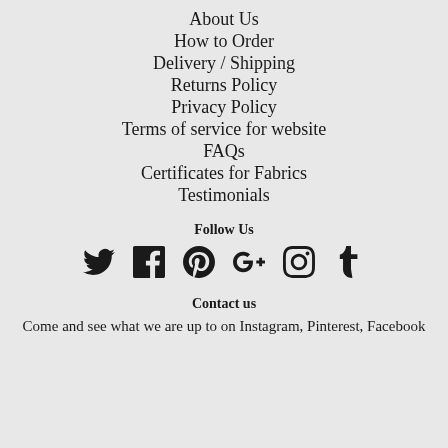About Us
How to Order
Delivery / Shipping
Returns Policy
Privacy Policy
Terms of service for website
FAQs
Certificates for Fabrics
Testimonials
Follow Us
[Figure (infographic): Social media icons: Twitter, Facebook, Pinterest, Google+, Instagram, Tumblr]
Contact us
Come and see what we are up to on Instagram, Pinterest, Facebook